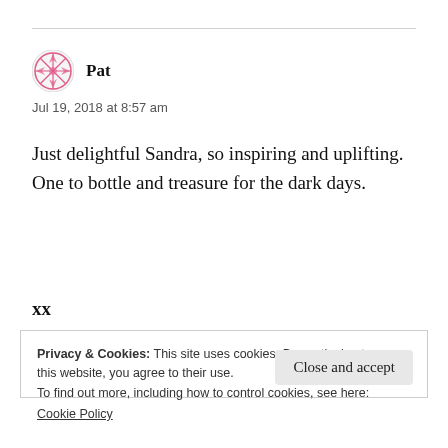Pat
Jul 19, 2018 at 8:57 am
Just delightful Sandra, so inspiring and uplifting. One to bottle and treasure for the dark days.

xx
Privacy & Cookies: This site uses cookies. By continuing to use this website, you agree to their use.
To find out more, including how to control cookies, see here:
Cookie Policy
Close and accept